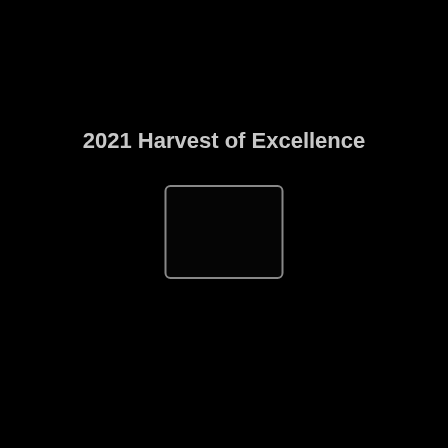2021 Harvest of Excellence
[Figure (photo): A placeholder image box with rounded border on a black background]